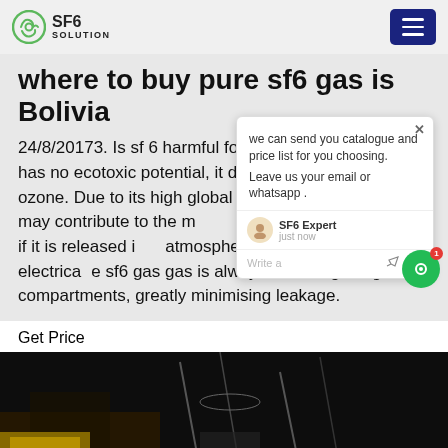SF6 SOLUTION
Where to buy pure sf6 gas is Bolivia
24/8/20173. Is sf 6 harmful for the environment? It has no ecotoxic potential, it does not deplete ozone. Due to its high global warming potential of 22.200 (*) it may contribute to the man-made greenhouse-effect, if it is released into the atmosphere. However in electrical switchgear, sf6 gas gas is always used in gas-tight compartments, greatly minimising leakage.
Chat popup: we can send you catalogue and price list for you choosing. Leave us your email or whatsapp . SF6 Expert just now. Write a
Get Price
[Figure (photo): Dark industrial/electrical equipment photo at bottom of page]